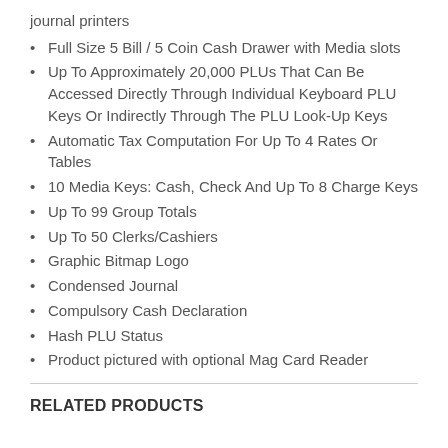journal printers
Full Size 5 Bill / 5 Coin Cash Drawer with Media slots
Up To Approximately 20,000 PLUs That Can Be Accessed Directly Through Individual Keyboard PLU Keys Or Indirectly Through The PLU Look-Up Keys
Automatic Tax Computation For Up To 4 Rates Or Tables
10 Media Keys: Cash, Check And Up To 8 Charge Keys
Up To 99 Group Totals
Up To 50 Clerks/Cashiers
Graphic Bitmap Logo
Condensed Journal
Compulsory Cash Declaration
Hash PLU Status
Product pictured with optional Mag Card Reader
RELATED PRODUCTS